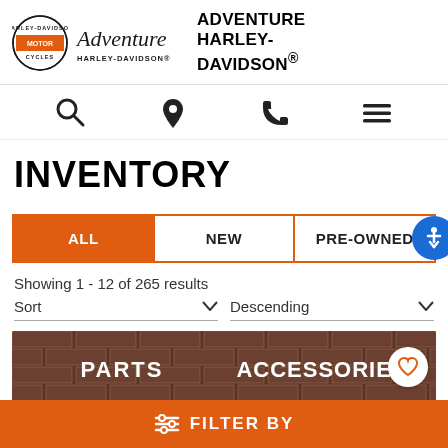[Figure (logo): Adventure Harley-Davidson logo with orange shield badge and script text]
ADVENTURE HARLEY-DAVIDSON®
[Figure (infographic): Navigation icons: search, location pin, phone, hamburger menu]
INVENTORY
[Figure (infographic): Tab bar with ALL (active/orange), NEW, PRE-OWNED tabs and blue accessibility button]
Showing 1 - 12 of 265 results
Sort  Descending
[Figure (photo): Brick wall with PARTS and ACCESSORIES text, partial HD logo]
FILTER BY